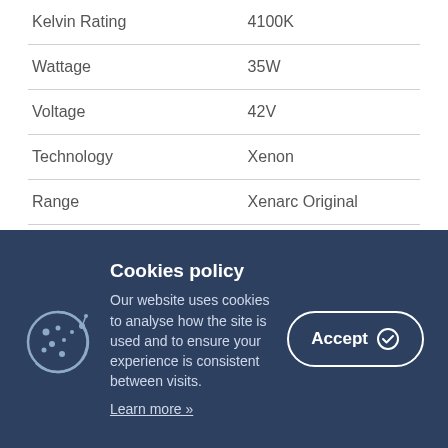| Property | Value |
| --- | --- |
| Kelvin Rating | 4100K |
| Wattage | 35W |
| Voltage | 42V |
| Technology | Xenon |
| Range | Xenarc Original |
| Base | P32d-6 |
| SKU | 66450 |
| EAN | 4008321349576 |
About Osram
As the industry leader in automotive lighting, OSRAM bulbs are fitted...
Cookies policy
Our website uses cookies to analyse how the site is used and to ensure your experience is consistent between visits.
Learn more »